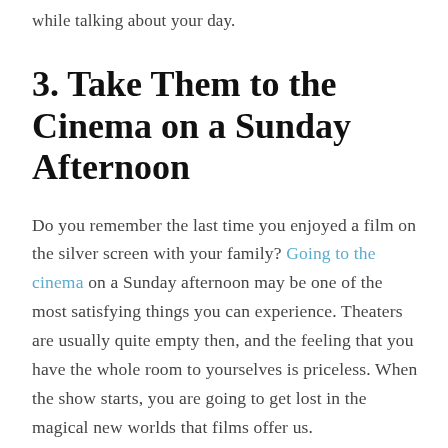while talking about your day.
3. Take Them to the Cinema on a Sunday Afternoon
Do you remember the last time you enjoyed a film on the silver screen with your family? Going to the cinema on a Sunday afternoon may be one of the most satisfying things you can experience. Theaters are usually quite empty then, and the feeling that you have the whole room to yourselves is priceless. When the show starts, you are going to get lost in the magical new worlds that films offer us.
Equip yourselves with popcorn and soda, pick a film you are all interested in, and enjoy. That way, you are going to break the routine of spending hours on end in front of the TV. You can also turn this into a family tradition that you may practice